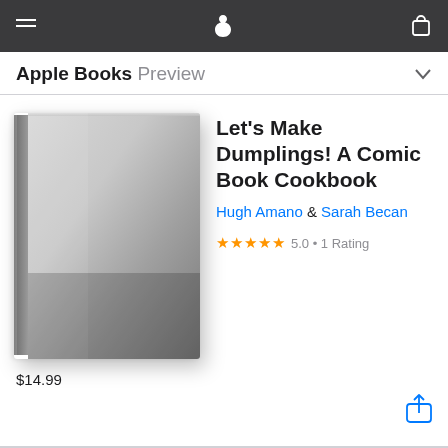Apple Books Preview
[Figure (illustration): Gray gradient hardcover book with no visible title, shown in 3/4 perspective with slight shadow]
Let's Make Dumplings! A Comic Book Cookbook
Hugh Amano & Sarah Becan
★★★★★ 5.0 • 1 Rating
$14.99